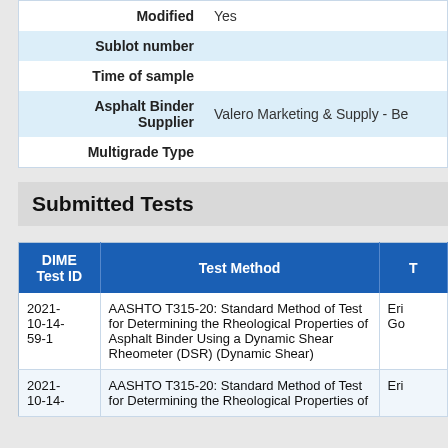| Field | Value |
| --- | --- |
| Modified | Yes |
| Sublot number |  |
| Time of sample |  |
| Asphalt Binder Supplier | Valero Marketing & Supply - Be |
| Multigrade Type |  |
Submitted Tests
| DIME Test ID | Test Method | T |
| --- | --- | --- |
| 2021-10-14-59-1 | AASHTO T315-20: Standard Method of Test for Determining the Rheological Properties of Asphalt Binder Using a Dynamic Shear Rheometer (DSR) (Dynamic Shear) | Er Go |
| 2021-10-14- | AASHTO T315-20: Standard Method of Test for Determining the Rheological Properties of | Eri |